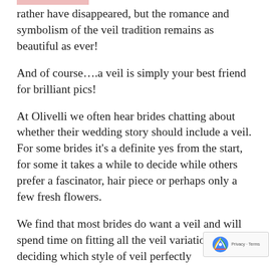rather have disappeared, but the romance and symbolism of the veil tradition remains as beautiful as ever!
And of course….a veil is simply your best friend for brilliant pics!
At Olivelli we often hear brides chatting about whether their wedding story should include a veil. For some brides it's a definite yes from the start, for some it takes a while to decide while others prefer a fascinator, hair piece or perhaps only a few fresh flowers.
We find that most brides do want a veil and will spend time on fitting all the veil variations before deciding which style of veil perfectly